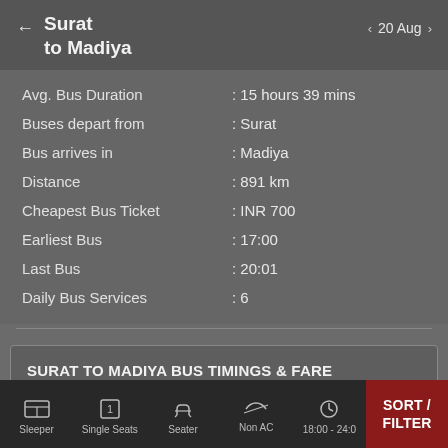Surat to Madiya
20 Aug
| Label | Value |
| --- | --- |
| Avg. Bus Duration | : 15 hours 39 mins |
| Buses depart from | : Surat |
| Bus arrives in | : Madiya |
| Distance | : 891 km |
| Cheapest Bus Ticket | : INR 700 |
| Earliest Bus | : 17:00 |
| Last Bus | : 20:01 |
| Daily Bus Services | : 6 |
SURAT TO MADIYA BUS TIMINGS & FARE
Sleeper | Single Seats | Seater | Non AC | 18:00 - 24:0 | SORT / FILTER